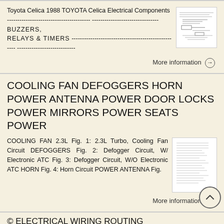Toyota Celica 1988 TOYOTA Celica Electrical Components ---------------------------------------- -------------------------------- BUZZERS, RELAYS & TIMERS ---------------------------------------------------- ----------------------------
[Figure (schematic): Small thumbnail of an electrical schematic/wiring diagram]
More information →
COOLING FAN DEFOGGERS HORN POWER ANTENNA POWER DOOR LOCKS POWER MIRRORS POWER SEATS POWER
COOLING FAN 2.3L Fig. 1: 2.3L Turbo, Cooling Fan Circuit DEFOGGERS Fig. 2: Defogger Circuit, W/ Electronic ATC Fig. 3: Defogger Circuit, W/O Electronic ATC HORN Fig. 4: Horn Circuit POWER ANTENNA Fig.
[Figure (schematic): Small thumbnail showing lines of text/circuit diagram content]
More information →
© ELECTRICAL WIRING ROUTING